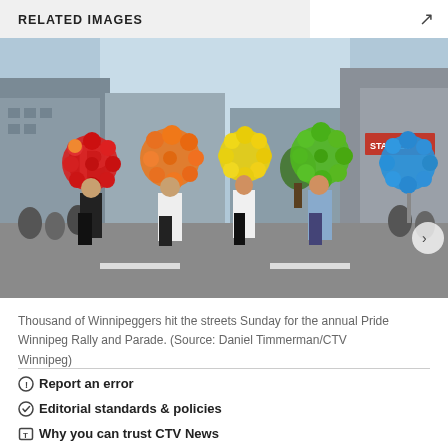RELATED IMAGES
[Figure (photo): People marching in a Pride parade on a city street, each carrying a large balloon letter spelling out PRIDE in rainbow colors (red P, orange R, yellow I, green D, blue E).]
Thousand of Winnipeggers hit the streets Sunday for the annual Pride Winnipeg Rally and Parade. (Source: Daniel Timmerman/CTV Winnipeg)
Report an error
Editorial standards & policies
Why you can trust CTV News